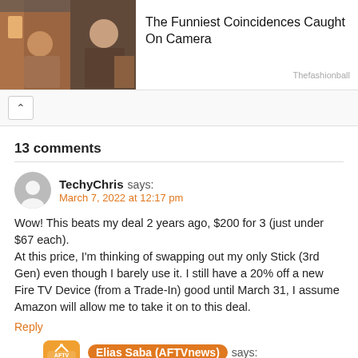[Figure (photo): Two side-by-side photos of people on a bus/transit, used as a promotional thumbnail]
The Funniest Coincidences Caught On Camera
Thefashionball
13 comments
TechyChris says:
March 7, 2022 at 12:17 pm
Wow! This beats my deal 2 years ago, $200 for 3 (just under $67 each).
At this price, I'm thinking of swapping out my only Stick (3rd Gen) even though I barely use it. I still have a 20% off a new Fire TV Device (from a Trade-In) good until March 31, I assume Amazon will allow me to take it on to this deal.
Reply
[Figure (logo): AFTVnews logo — orange rounded square with TV antenna icon and AFTV news text]
Elias Saba (AFTVnews) says:
March 7, 2022 at 1:18 pm